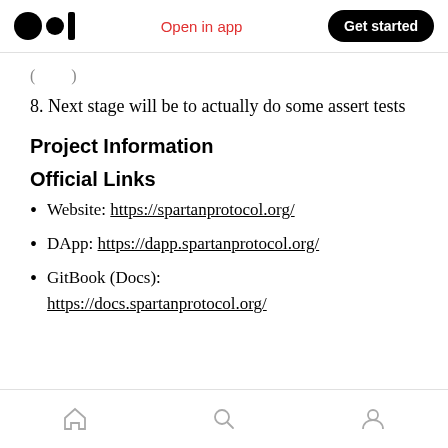Medium app header with logo, Open in app, Get started
(truncated/partial text above)
8. Next stage will be to actually do some assert tests
Project Information
Official Links
Website: https://spartanprotocol.org/
DApp: https://dapp.spartanprotocol.org/
GitBook (Docs): https://docs.spartanprotocol.org/
Bottom navigation bar with home, search, profile icons